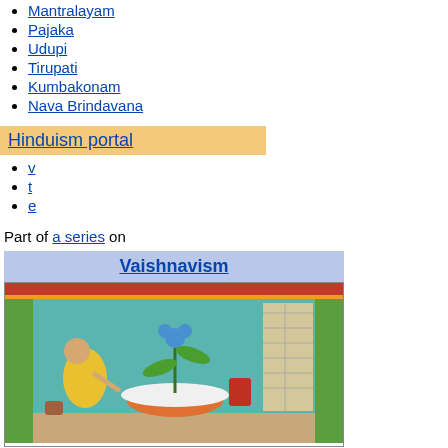Mantralayam
Pajaka
Udupi
Tirupati
Kumbakonam
Nava Brindavana
Hinduism portal
v
t
e
Part of a series on
Vaishnavism
[Figure (illustration): Painting of a deity scene with a yellow-robed figure worshipping a plant on a lotus, under a temple roof with teal background.]
Supreme deity